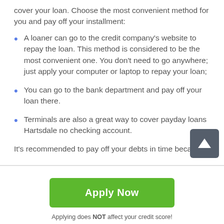cover your loan. Choose the most convenient method for you and pay off your installment:
A loaner can go to the credit company's website to repay the loan. This method is considered to be the most convenient one. You don't need to go anywhere; just apply your computer or laptop to repay your loan;
You can go to the bank department and pay off your loan there.
Terminals are also a great way to cover payday loans Hartsdale no checking account.
It's recommended to pay off your debts in time because
[Figure (other): Scroll-to-top button with upward arrow icon on dark grey background]
Apply Now
Applying does NOT affect your credit score!
No credit check to apply.